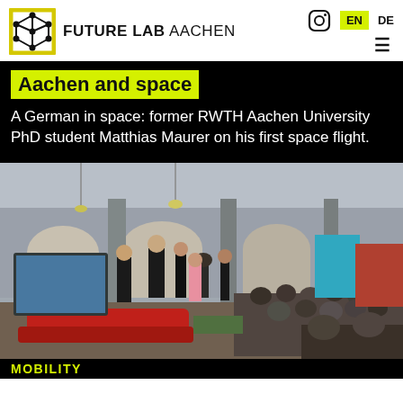FUTURE LAB AACHEN — EN / DE
Aachen and space
A German in space: former RWTH Aachen University PhD student Matthias Maurer on his first space flight.
[Figure (photo): A speaker presenting to a large seated audience in a historic hall decorated with arched windows and columns, with red sofas in the foreground and exhibition booths in the background.]
MOBILITY